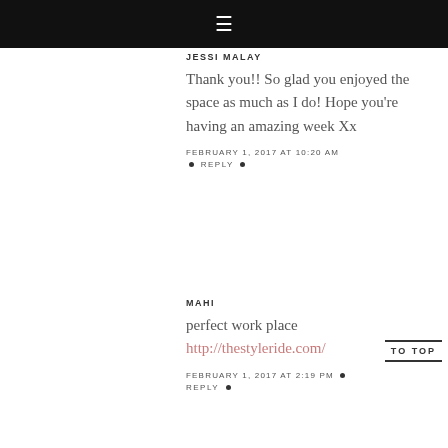≡
JESSI MALAY
Thank you!! So glad you enjoyed the space as much as I do! Hope you're having an amazing week Xx
FEBRUARY 1, 2017 AT 10:20 AM • REPLY •
MAHI
perfect work place http://thestyleride.com/
FEBRUARY 1, 2017 AT 2:19 PM • REPLY •
TO TOP